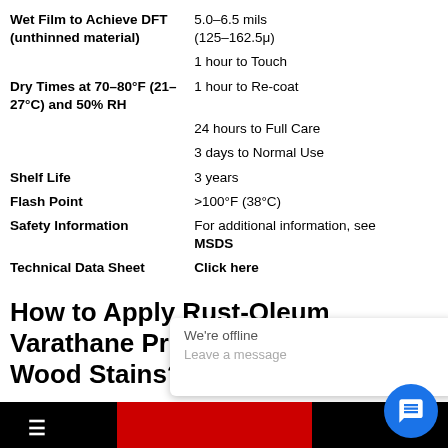| Property | Value |
| --- | --- |
| Wet Film to Achieve DFT (unthinned material) | 5.0–6.5 mils
(125–162.5μ) |
| Dry Times at 70–80°F (21–27°C) and 50% RH | 1 hour to Touch
1 hour to Re-coat
24 hours to Full Care
3 days to Normal Use |
| Shelf Life | 3 years |
| Flash Point | >100°F (38°C) |
| Safety Information | For additional information, see MSDS |
| Technical Data Sheet | Click here |
How to Apply Rust-Oleum Varathane Premium Fast Dry Wood Stains?
Surface Preparation
Remove any existing finishes with sandpaper or paint stripper. Prepare bare wood fo... ecti...